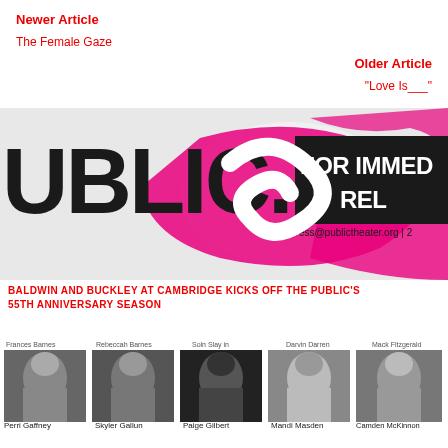Newer Article
The Female Gaze
Older Article
"Love Is___"
[Figure (photo): Public Theater press release banner with pink and black graphic design, text reading PUBLIC. FOR IMMED REL press@publictheater.org]
BALDWIN AND BUCKLEY AT CAMBRIDGE KICKS OFF THE PUBLIC'S 55TH ANNIVERSARY SEASON
[Figure (photo): Row of five black and white headshot photos of cast members: Perri Gaffney, Skyler Gallun, Paige Gilbert, Mandi Masden, Camden McKinnon, with partially visible labels above each photo]